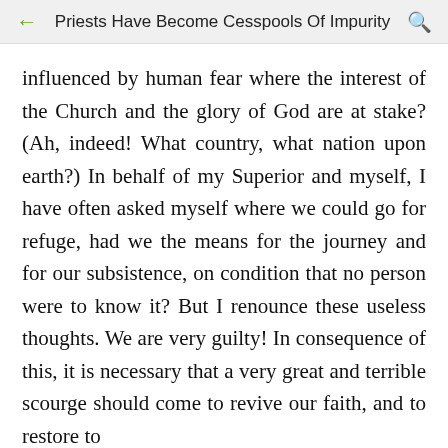Priests Have Become Cesspools Of Impurity
influenced by human fear where the interest of the Church and the glory of God are at stake? (Ah, indeed! What country, what nation upon earth?) In behalf of my Superior and myself, I have often asked myself where we could go for refuge, had we the means for the journey and for our subsistence, on condition that no person were to know it? But I renounce these useless thoughts. We are very guilty! In consequence of this, it is necessary that a very great and terrible scourge should come to revive our faith, and to restore to